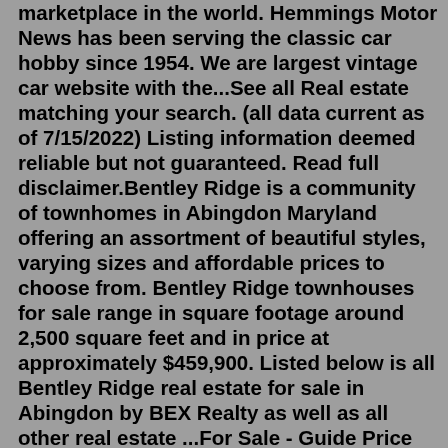marketplace in the world. Hemmings Motor News has been serving the classic car hobby since 1954. We are largest vintage car website with the...See all Real estate matching your search. (all data current as of 7/15/2022) Listing information deemed reliable but not guaranteed. Read full disclaimer.Bentley Ridge is a community of townhomes in Abingdon Maryland offering an assortment of beautiful styles, varying sizes and affordable prices to choose from. Bentley Ridge townhouses for sale range in square footage around 2,500 square feet and in price at approximately $459,900. Listed below is all Bentley Ridge real estate for sale in Abingdon by BEX Realty as well as all other real estate ...For Sale - Guide Price £6,785,000616.59 acres, Oxfordshire. The Land at Hall Farm is an attractive commercial block of mainly arable land lying within the North Wessex Downs Area of Outstanding Natural Beauty and extending... View property details Add to my property portfolio. Agent details: BCM.Find a fantastic For Sale from the 23 ads currently live in Abingdon-on-